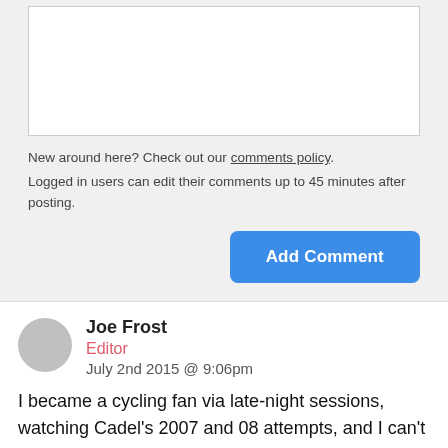[Figure (screenshot): Comment text area input box, empty, with resize handle]
New around here? Check out our comments policy.
Logged in users can edit their comments up to 45 minutes after posting.
Add Comment (button)
Joe Frost
Editor
July 2nd 2015 @ 9:06pm
I became a cycling fan via late-night sessions, watching Cadel's 2007 and 08 attempts, and I can't remember ever being more excited for a day of sport than waiting for Andy and Alberto go tete-a-tete on the Tourmalet in